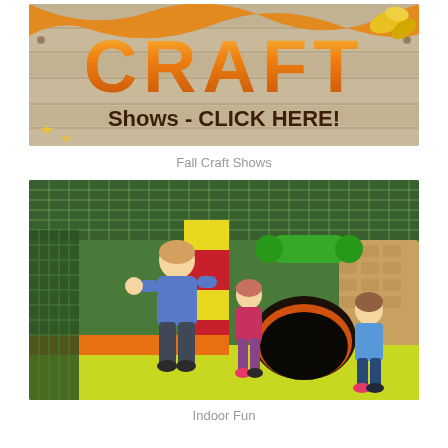[Figure (photo): Colorful craft show banner with large orange/yellow 'CRAFT' text and 'Shows - CLICK HERE!' text on a wood-plank background with fall leaf decorations]
Fall Craft Shows
[Figure (photo): Two children playing in a colorful indoor play area with tunnels, climbing structures, and slides featuring red, green, yellow and orange equipment]
Indoor Fun